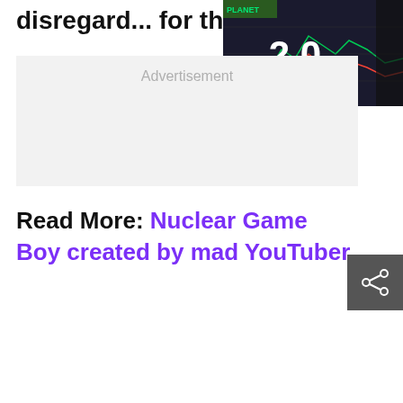disregard... for the victims".
[Figure (screenshot): Trading platform screenshot showing chart with large '2.0' text overlay, person's head silhouette in foreground, Planet logo in top left corner]
Advertisement
Read More: Nuclear Game Boy created by mad YouTuber